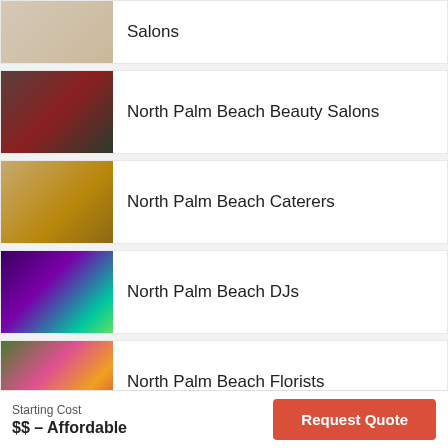Salons
North Palm Beach Beauty Salons
North Palm Beach Caterers
North Palm Beach DJs
North Palm Beach Florists
Starting Cost
$$ – Affordable
Request Quote